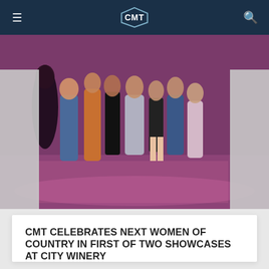CMT
[Figure (photo): Group of women standing on a stage with pink/purple lighting at City Winery showcase event]
CMT CELEBRATES NEXT WOMEN OF COUNTRY IN FIRST OF TWO SHOWCASES AT CITY WINERY
CMT's Leslie Fram and country singer Jessie James Decker co-hosted the first of two CMT Night Out Nashville showcases.
09/01/2022
[Figure (photo): Partial view of a person with red/auburn hair, bottom of page]